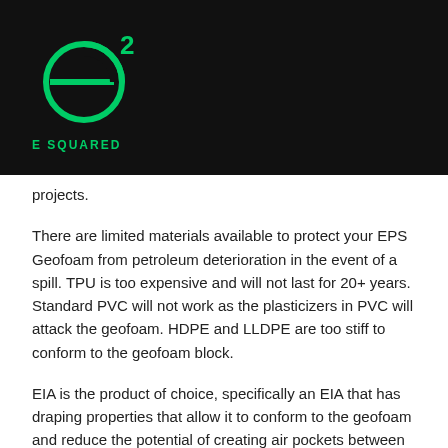[Figure (logo): E Squared logo — circular 'e' with superscript '2' in green on black background, with 'E SQUARED' text below in green]
projects.
There are limited materials available to protect your EPS Geofoam from petroleum deterioration in the event of a spill. TPU is too expensive and will not last for 20+ years. Standard PVC will not work as the plasticizers in PVC will attack the geofoam. HDPE and LLDPE are too stiff to conform to the geofoam block.
EIA is the product of choice, specifically an EIA that has draping properties that allow it to conform to the geofoam and reduce the potential of creating air pockets between the PRG and the geofoam.